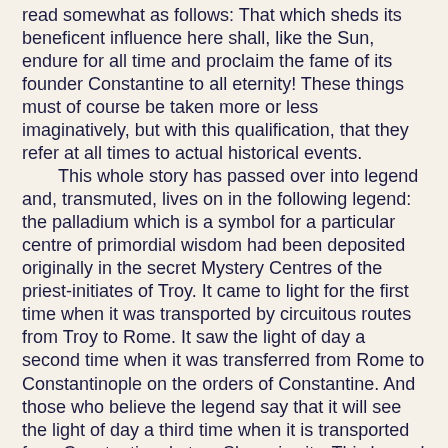read somewhat as follows: That which sheds its beneficent influence here shall, like the Sun, endure for all time and proclaim the fame of its founder Constantine to all eternity! These things must of course be taken more or less imaginatively, but with this qualification, that they refer at all times to actual historical events.
	This whole story has passed over into legend and, transmuted, lives on in the following legend: the palladium which is a symbol for a particular centre of primordial wisdom had been deposited originally in the secret Mystery Centres of the priest-initiates of Troy. It came to light for the first time when it was transported by circuitous routes from Troy to Rome. It saw the light of day a second time when it was transferred from Rome to Constantinople on the orders of Constantine. And those who believe the legend say that it will see the light of day a third time when it is transported from Constantinople to a Slavonic city. This legend is still vitally alive and survives in many things and under manifold forms. Today many things which appear in their purely physical aspects conceal a deeper layer of meaning.
	Constantine therefore actively strove to prevent the downfall of the Roman empire in spite of his firm belief in the